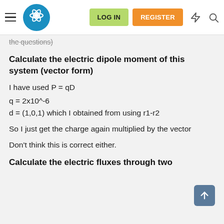LOG IN  REGISTER
the questions)
Calculate the electric dipole moment of this system (vector form)
I have used P = qD
q = 2x10^-6
d = (1,0,1) which I obtained from using r1-r2
So I just get the charge again multiplied by the vector
Don't think this is correct either.
Calculate the electric fluxes through two